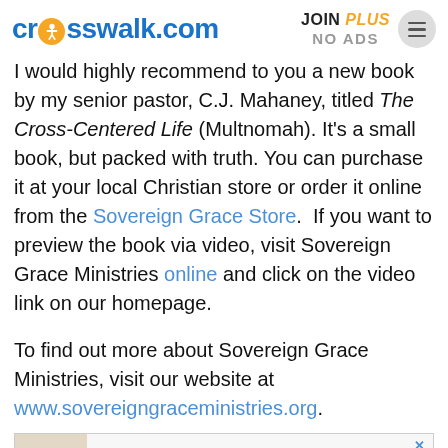crosswalk.com | JOIN PLUS NO ADS
I would highly recommend to you a new book by my senior pastor, C.J. Mahaney, titled The Cross-Centered Life (Multnomah). It's a small book, but packed with truth. You can purchase it at your local Christian store or order it online from the Sovereign Grace Store. If you want to preview the book via video, visit Sovereign Grace Ministries online and click on the video link on our homepage.
To find out more about Sovereign Grace Ministries, visit our website at www.sovereigngraceministries.org.
[Figure (other): Advertisement banner for 'Prayers For Your Unsaved Loved Ones' book with small book cover image on the left and bold heading text on the right.]